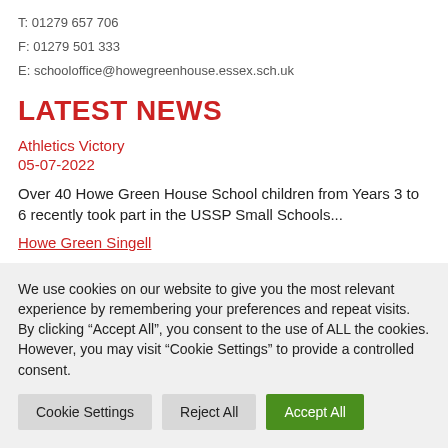T: 01279 657 706
F: 01279 501 333
E: schooloffice@howegreenhouse.essex.sch.uk
LATEST NEWS
Athletics Victory
05-07-2022
Over 40 Howe Green House School children from Years 3 to 6 recently took part in the USSP Small Schools...
Howe Green Singell
We use cookies on our website to give you the most relevant experience by remembering your preferences and repeat visits. By clicking “Accept All”, you consent to the use of ALL the cookies. However, you may visit "Cookie Settings" to provide a controlled consent.